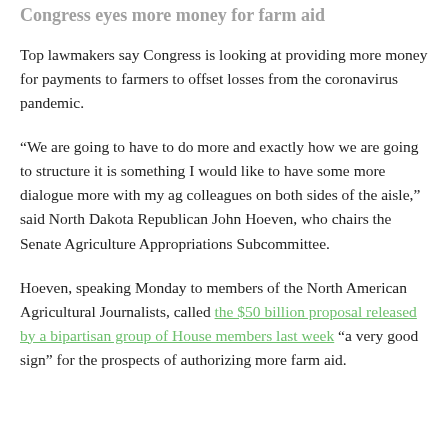Congress eyes more money for farm aid
Top lawmakers say Congress is looking at providing more money for payments to farmers to offset losses from the coronavirus pandemic.
“We are going to have to do more and exactly how we are going to structure it is something I would like to have some more dialogue more with my ag colleagues on both sides of the aisle,” said North Dakota Republican John Hoeven, who chairs the Senate Agriculture Appropriations Subcommittee.
Hoeven, speaking Monday to members of the North American Agricultural Journalists, called the $50 billion proposal released by a bipartisan group of House members last week “a very good sign” for the prospects of authorizing more farm aid.